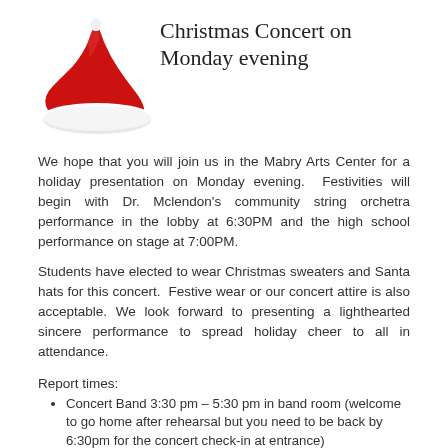[Figure (illustration): Red Santa hat with white trim and pompom, positioned in upper left]
Christmas Concert on Monday evening
We hope that you will join us in the Mabry Arts Center for a holiday presentation on Monday evening.  Festivities will begin with Dr. Mclendon's community string orchetra performance in the lobby at 6:30PM and the high school performance on stage at 7:00PM.
Students have elected to wear Christmas sweaters and Santa hats for this concert.  Festive wear or our concert attire is also acceptable. We look forward to presenting a lighthearted sincere performance to spread holiday cheer to all in attendance.
Report times:
Concert Band 3:30 pm – 5:30 pm in band room (welcome to go home after rehearsal but you need to be back by 6:30pm for the concert check-in at entrance)